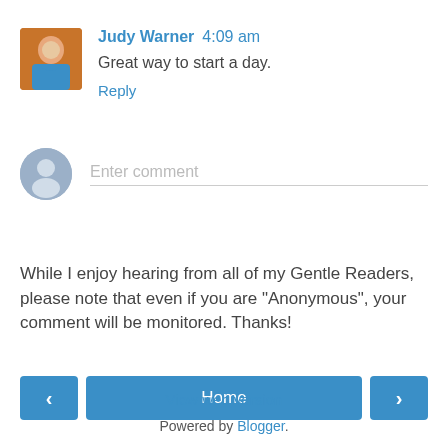[Figure (photo): Profile photo of Judy Warner, a woman in a blue top]
Judy Warner 4:09 am
Great way to start a day.
Reply
[Figure (illustration): Anonymous user avatar silhouette in grey circle]
Enter comment
While I enjoy hearing from all of my Gentle Readers, please note that even if you are "Anonymous", your comment will be monitored. Thanks!
< Home >
View web version
Powered by Blogger.